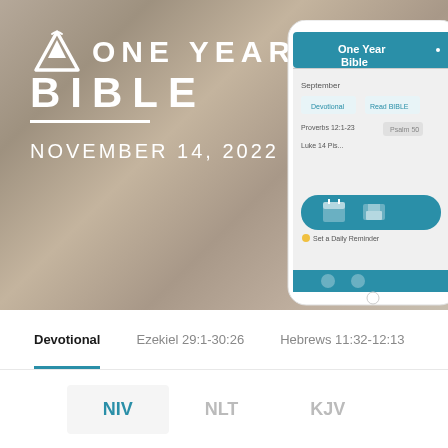[Figure (screenshot): One Year Bible app screenshot shown on a smartphone, held by a hand against a blurred background. The app shows a devotional interface for November 14, 2022 with calendar and print icons.]
ONE YEAR BIBLE
NOVEMBER 14, 2022
Devotional  Ezekiel 29:1-30:26  Hebrews 11:32-12:13
NIV  NLT  KJV